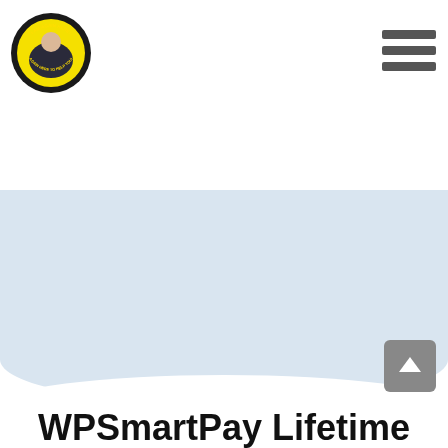[Figure (logo): Circular badge logo with a yellow background and gear/cog border, featuring a person (man in dark clothing) inside. Text around the top reads 'I AM AGAIN HERE!' and around the bottom reads 'AGAIN HERE TO HELP YOU!']
[Figure (infographic): Hamburger menu icon (three horizontal dark gray bars stacked) in the top right of the header]
[Figure (infographic): Light blue hero/banner background section with a curved bottom edge, taking up the middle portion of the page]
[Figure (infographic): Gray square scroll-to-top button with an upward pointing arrow, positioned in the lower right]
WPSmartPay Lifetime